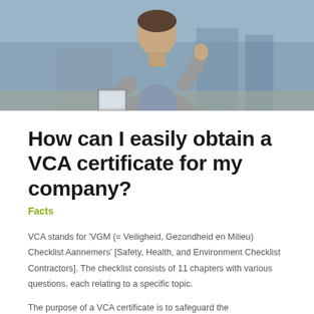[Figure (photo): A man in a gray blazer holding a tablet, standing outdoors, viewed from mid-torso up.]
How can I easily obtain a VCA certificate for my company?
Facts
VCA stands for 'VGM (= Veiligheid, Gezondheid en Milieu) Checklist Aannemers' [Safety, Health, and Environment Checklist Contractors]. The checklist consists of 11 chapters with various questions, each relating to a specific topic.
The purpose of a VCA certificate is to safeguard the